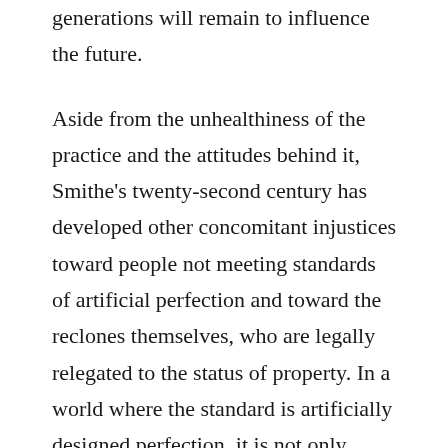generations will remain to influence the future.
Aside from the unhealthiness of the practice and the attitudes behind it, Smithe's twenty-second century has developed other concomitant injustices toward people not meeting standards of artificial perfection and toward the reclones themselves, who are legally relegated to the status of property. In a world where the standard is artificially designed perfection, it is not only actual physical defects that will face discrimination. Natural healthy human features will be seen as defects as well. Twenty-second century humanity is making true humanity illegal and disability a crime, as we see in the